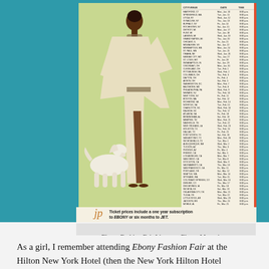[Figure (photo): Scan of an Ebony Fashion Fair magazine advertisement showing a tall Black woman in a flowing white/cream satin dress with wide sleeves standing next to a white Afghan Hound dog, against a yellow-green background. To the right of the figure is a dense itinerary listing of tour dates and cities. At the bottom is a Johnson Publishing logo and text reading 'Ticket prices include a one year subscription to EBONY or six months to JET.']
— Ebony Fashion Fair Itinerary, Ebony Magazine, Tias.com
As a girl, I remember attending Ebony Fashion Fair at the Hilton New York Hotel (then the New York Hilton Hotel